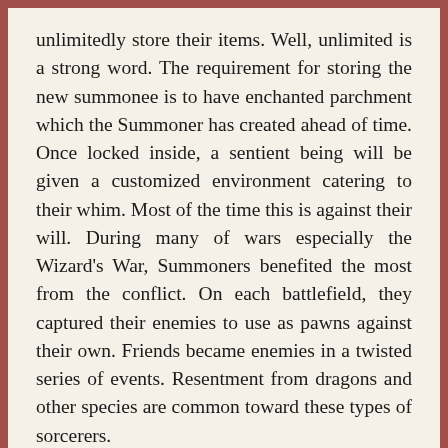unlimitedly store their items. Well, unlimited is a strong word. The requirement for storing the new summonee is to have enchanted parchment which the Summoner has created ahead of time. Once locked inside, a sentient being will be given a customized environment catering to their whim. Most of the time this is against their will. During many of wars especially the Wizard's War, Summoners benefited the most from the conflict. On each battlefield, they captured their enemies to use as pawns against their own. Friends became enemies in a twisted series of events. Resentment from dragons and other species are common toward these types of sorcerers.
Often Summoners will carry around journals of their summonees. These they can have float around them and come alive with the spell known as Eisque. Similar to the energy form animation, this talent allows them